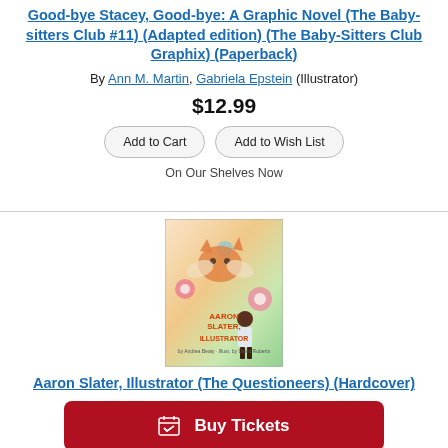Good-bye Stacey, Good-bye: A Graphic Novel (The Baby-sitters Club #11) (Adapted edition) (The Baby-Sitters Club Graphix) (Paperback)
By Ann M. Martin, Gabriela Epstein (Illustrator)
$12.99
Add to Cart | Add to Wish List
On Our Shelves Now
[Figure (illustration): Book cover of Aaron Slater, Illustrator (The Questioneers) featuring colorful illustrated characters including a fox and flowers]
Aaron Slater, Illustrator (The Questioneers) (Hardcover)
Buy Tickets
Add to Cart | Add to Wish List